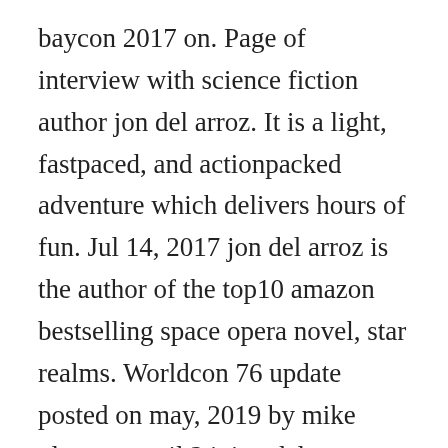baycon 2017 on. Page of interview with science fiction author jon del arroz. It is a light, fastpaced, and actionpacked adventure which delivers hours of fun. Jul 14, 2017 jon del arroz is the author of the top10 amazon bestselling space opera novel, star realms. Worldcon 76 update posted on may, 2019 by mike glyer on april 24, jon del arroz attorney peter sean bradley filed a request with the santa clara county superior court to dismiss 18 of the 19 named defendants from his lawsuit against worldcon 76. Hes making noise again, not for the small cause of his position, but...